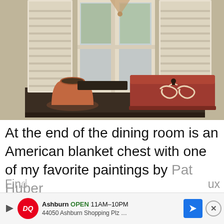[Figure (photo): A rustic interior scene showing a dark wooden sideboard/shelf with a terracotta clay pot and saucer on the left, and a reddish-brown American blanket chest with white decorative scroll painting on the right. Behind them are distressed white wooden window shutters and a mirror reflecting a garden scene. The overall aesthetic is antique/farmhouse.]
At the end of the dining room is an American blanket chest with one of my favorite paintings by Pat Huber
Find ... ux
[Figure (other): Dairy Queen advertisement banner showing DQ logo, Ashburn location with OPEN 11AM-10PM hours, address 44050 Ashburn Shopping Plz, a blue navigation arrow button, and a close (X) button.]